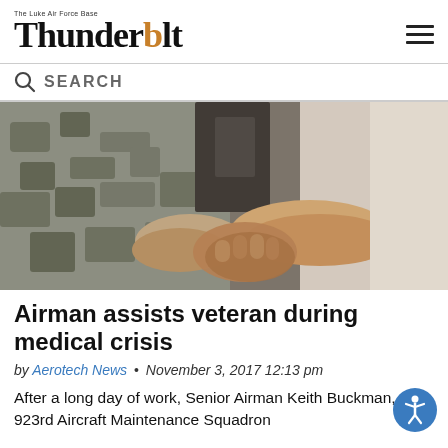Thunderbolt — The Luke Air Force Base newspaper
SEARCH
[Figure (photo): Two people shaking hands; one person is wearing military camouflage uniform]
Airman assists veteran during medical crisis
by Aerotech News • November 3, 2017 12:13 pm
After a long day of work, Senior Airman Keith Buckman, 923rd Aircraft Maintenance Squadron